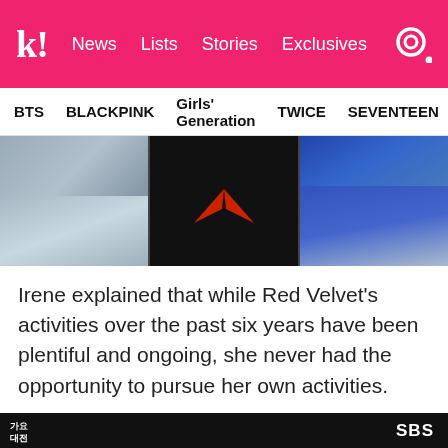k! News  Lists  Stories  Exclusives
BTS  BLACKPINK  Girls' Generation  TWICE  SEVENTEEN
[Figure (photo): Partial body shots in three panels: denim fabric on left, dark shirt with red/orange wing-like graphic in center, blue denim jeans on right]
Irene explained that while Red Velvet's activities over the past six years have been plentiful and ongoing, she never had the opportunity to pursue her own activities.
[Figure (photo): Five women standing in formal/elegant black attire on a dark stage at SBS awards event (가요대전). SBS logo visible in top right corner.]